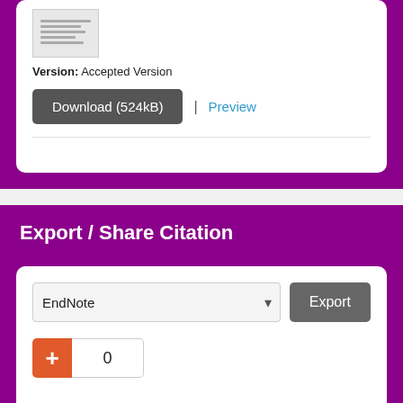Version: Accepted Version
Download (524kB)
Preview
Export / Share Citation
EndNote
Export
0